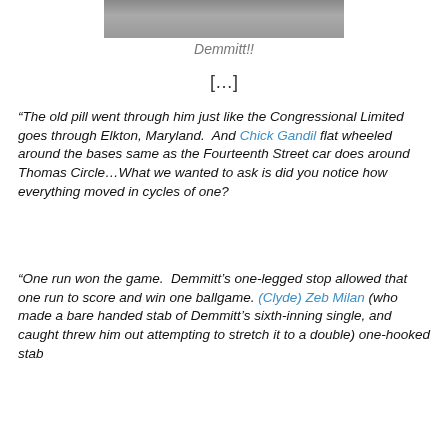[Figure (photo): Black and white photo of a person, partially visible at top of page]
Demmitt!!
[…]
“The old pill went through him just like the Congressional Limited goes through Elkton, Maryland.  And Chick Gandil flat wheeled around the bases same as the Fourteenth Street car does around Thomas Circle…What we wanted to ask is did you notice how everything moved in cycles of one?
“One run won the game.  Demmitt’s one-legged stop allowed that one run to score and win one ballgame. (Clyde) Zeb Milan (who made a bare handed stab of Demmitt’s sixth-inning single, and caught threw him out attempting to stretch it to a double) one-hooked stab around the corner and Gandil went to be batted in...